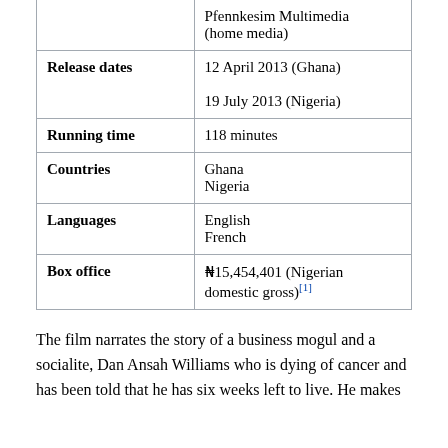| Field | Value |
| --- | --- |
| (distribution top, cut off) | Pfennkesim Multimedia (home media) |
| Release dates | 12 April 2013 (Ghana)
19 July 2013 (Nigeria) |
| Running time | 118 minutes |
| Countries | Ghana
Nigeria |
| Languages | English
French |
| Box office | ₦15,454,401 (Nigerian domestic gross)[1] |
The film narrates the story of a business mogul and a socialite, Dan Ansah Williams who is dying of cancer and has been told that he has six weeks left to live. He makes